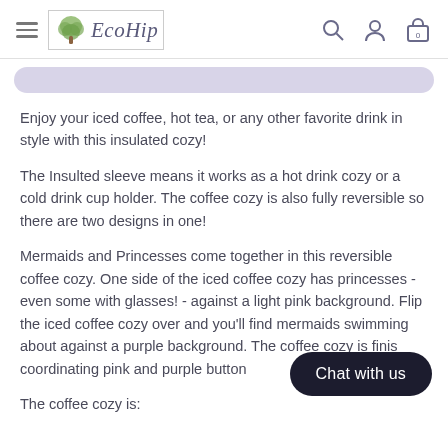EcoHip
Enjoy your iced coffee, hot tea, or any other favorite drink in style with this insulated cozy!
The Insulted sleeve means it works as a hot drink cozy or a cold drink cup holder. The coffee cozy is also fully reversible so there are two designs in one!
Mermaids and Princesses come together in this reversible coffee cozy. One side of the iced coffee cozy has princesses - even some with glasses! - against a light pink background. Flip the iced coffee cozy over and you'll find mermaids swimming about against a purple background. The coffee cozy is finis coordinating pink and purple button
The coffee cozy is: